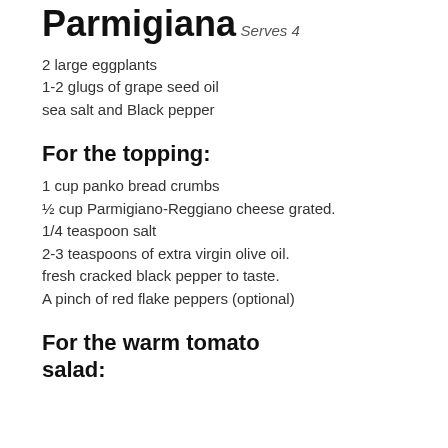Parmigiana
Serves 4
2 large eggplants
1-2 glugs of grape seed oil
sea salt and Black pepper
For the topping:
1 cup panko bread crumbs
½ cup Parmigiano-Reggiano cheese grated.
1/4 teaspoon salt
2-3 teaspoons of extra virgin olive oil.
fresh cracked black pepper to taste.
A pinch of red flake peppers (optional)
For the warm tomato salad: